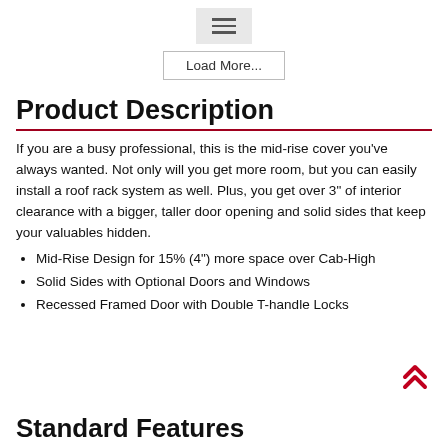[Figure (other): Hamburger menu icon button (three horizontal lines) on light grey background]
[Figure (other): Load More... button with border]
Product Description
If you are a busy professional, this is the mid-rise cover you’ve always wanted. Not only will you get more room, but you can easily install a roof rack system as well. Plus, you get over 3” of interior clearance with a bigger, taller door opening and solid sides that keep your valuables hidden.
Mid-Rise Design for 15% (4”) more space over Cab-High
Solid Sides with Optional Doors and Windows
Recessed Framed Door with Double T-handle Locks
Standard Features